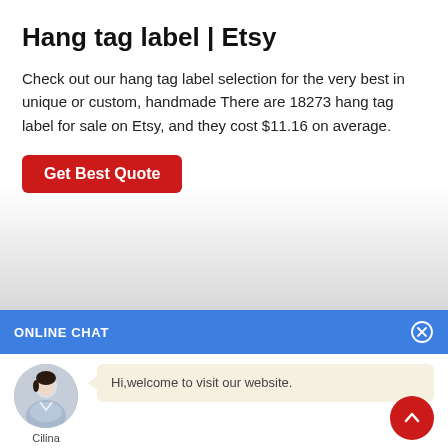Hang tag label | Etsy
Check out our hang tag label selection for the very best in unique or custom, handmade There are 18273 hang tag label for sale on Etsy, and they cost $11.16 on average.
Get Best Quote
ONLINE CHAT
Hi,welcome to visit our website.
Cilina